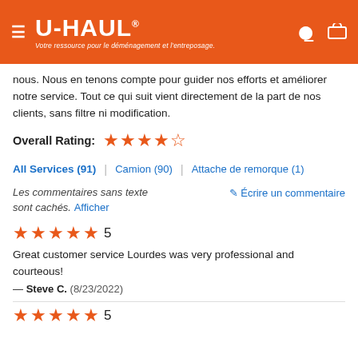U-HAUL — Votre ressource pour le déménagement et l'entreposage.
nous. Nous en tenons compte pour guider nos efforts et améliorer notre service. Tout ce qui suit vient directement de la part de nos clients, sans filtre ni modification.
Overall Rating: ★★★★½
All Services (91) | Camion (90) | Attache de remorque (1)
Les commentaires sans texte sont cachés. Afficher    ✎ Écrire un commentaire
★★★★★ 5
Great customer service Lourdes was very professional and courteous!
— Steve C.  (8/23/2022)
★★★★★ 5